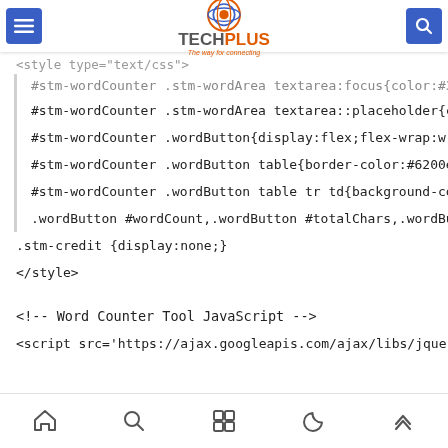TechPlus website header with hamburger menu, logo, and search button
<style type="text/css">
#stm-wordCounter .stm-wordArea textarea:focus{color:#333
#stm-wordCounter .stm-wordArea textarea::placeholder{col
#stm-wordCounter .wordButton{display:flex;flex-wrap:wrap;f
#stm-wordCounter .wordButton table{border-color:#6200ee}
#stm-wordCounter .wordButton table tr td{background-color:
.wordButton #wordCount,.wordButton #totalChars,.wordButt
.stm-credit {display:none;}
</style>
<!-- Word Counter Tool JavaScript -->
<script src='https://ajax.googleapis.com/ajax/libs/jquery/3.5.
Bottom navigation icons: home, search, grid, moon, up-arrow